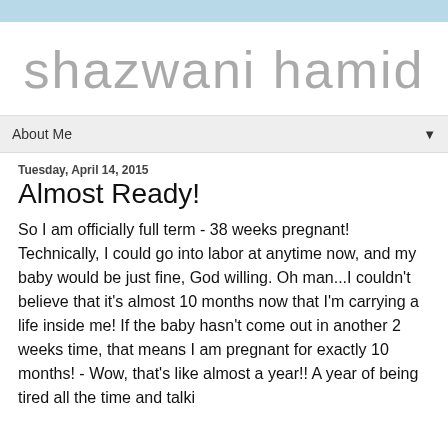shazwani hamid
About Me ▼
Tuesday, April 14, 2015
Almost Ready!
So I am officially full term - 38 weeks pregnant! Technically, I could go into labor at anytime now, and my baby would be just fine, God willing. Oh man...I couldn't believe that it's almost 10 months now that I'm carrying a life inside me! If the baby hasn't come out in another 2 weeks time, that means I am pregnant for exactly 10 months! - Wow, that's like almost a year!! A year of being tired all the time and talki